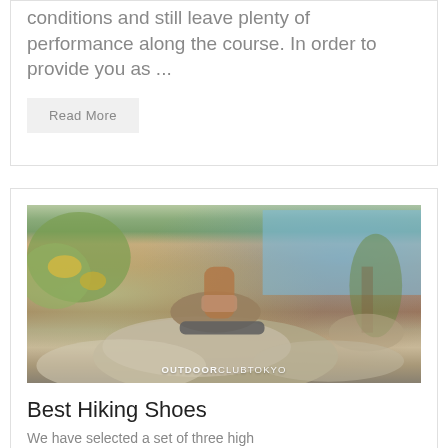conditions and still leave plenty of performance along the course. In order to provide you as ...
Read More
[Figure (photo): Close-up photo of a hiking shoe/boot stepping on a rock, with yellow wildflowers and blue sky in the background. Watermark reads OUTDOORCLUBTOKYO.]
Best Hiking Shoes
We have selected a set of three high